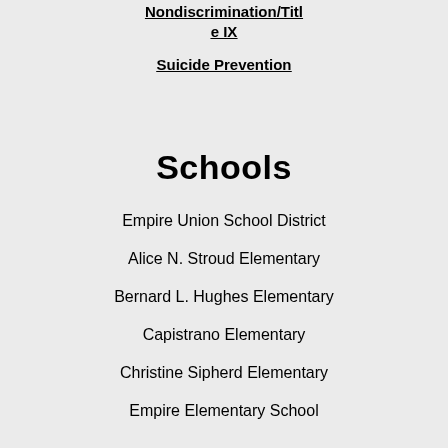Nondiscrimination/Title IX
Suicide Prevention
Schools
Empire Union School District
Alice N. Stroud Elementary
Bernard L. Hughes Elementary
Capistrano Elementary
Christine Sipherd Elementary
Empire Elementary School